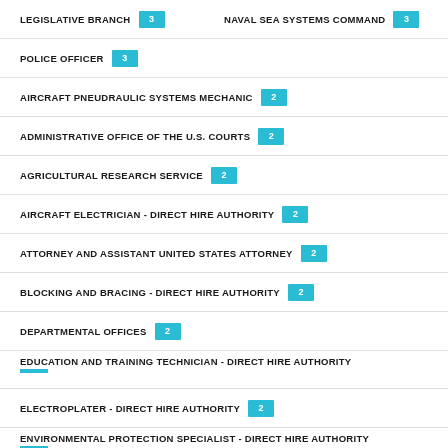LEGISLATIVE BRANCH (3)   NAVAL SEA SYSTEMS COMMAND (3)
POLICE OFFICER (3)
AIRCRAFT PNEUDRAULIC SYSTEMS MECHANIC (2)
ADMINISTRATIVE OFFICE OF THE U.S. COURTS (2)
AGRICULTURAL RESEARCH SERVICE (2)
AIRCRAFT ELECTRICIAN - DIRECT HIRE AUTHORITY (2)
ATTORNEY AND ASSISTANT UNITED STATES ATTORNEY (2)
BLOCKING AND BRACING - DIRECT HIRE AUTHORITY (2)
DEPARTMENTAL OFFICES (2)
EDUCATION AND TRAINING TECHNICIAN - DIRECT HIRE AUTHORITY
ELECTROPLATER - DIRECT HIRE AUTHORITY (2)
ENVIRONMENTAL PROTECTION SPECIALIST - DIRECT HIRE AUTHORITY
EXECUTIVE OFFICE FOR U.S. ATTORNEYS (2)